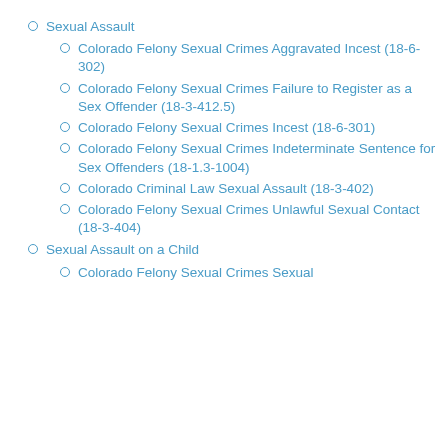Sexual Assault
Colorado Felony Sexual Crimes Aggravated Incest (18-6-302)
Colorado Felony Sexual Crimes Failure to Register as a Sex Offender (18-3-412.5)
Colorado Felony Sexual Crimes Incest (18-6-301)
Colorado Felony Sexual Crimes Indeterminate Sentence for Sex Offenders (18-1.3-1004)
Colorado Criminal Law Sexual Assault (18-3-402)
Colorado Felony Sexual Crimes Unlawful Sexual Contact (18-3-404)
Sexual Assault on a Child
Colorado Felony Sexual Crimes Sexual